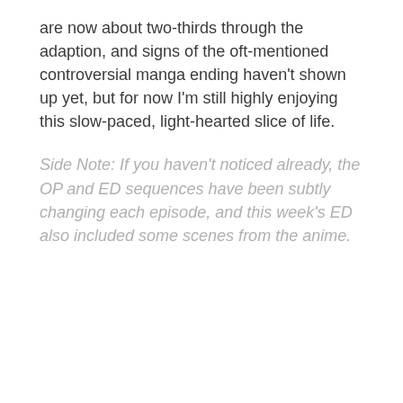are now about two-thirds through the adaption, and signs of the oft-mentioned controversial manga ending haven't shown up yet, but for now I'm still highly enjoying this slow-paced, light-hearted slice of life.
Side Note: If you haven't noticed already, the OP and ED sequences have been subtly changing each episode, and this week's ED also included some scenes from the anime.